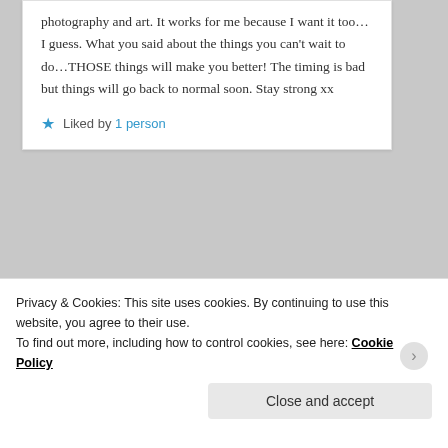photography and art. It works for me because I want it too…I guess. What you said about the things you can't wait to do…THOSE things will make you better! The timing is bad but things will go back to normal soon. Stay strong xx
★ Liked by 1 person
limetwiste on April 30, 2020 at 12:24
Privacy & Cookies: This site uses cookies. By continuing to use this website, you agree to their use.
To find out more, including how to control cookies, see here: Cookie Policy
Close and accept